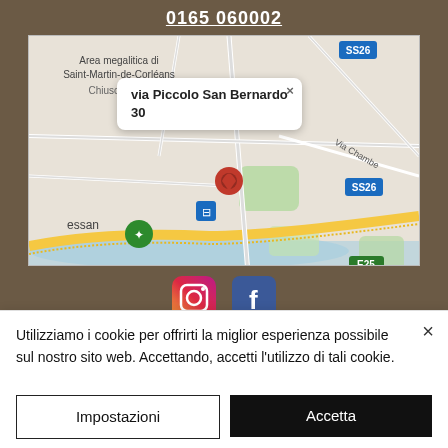0165 060002
[Figure (map): Google Maps screenshot showing location at via Piccolo San Bernardo 30, with a red marker pin, popup showing address, road labels SS26 and E25, area labels including 'Area megalitica di Saint-Martin-de-Corléans', 'Chiuso', 'essan', 'Via Chambe']
[Figure (infographic): Instagram and Facebook social media icons]
Utilizziamo i cookie per offrirti la miglior esperienza possibile sul nostro sito web. Accettando, accetti l'utilizzo di tali cookie.
Impostazioni
Accetta